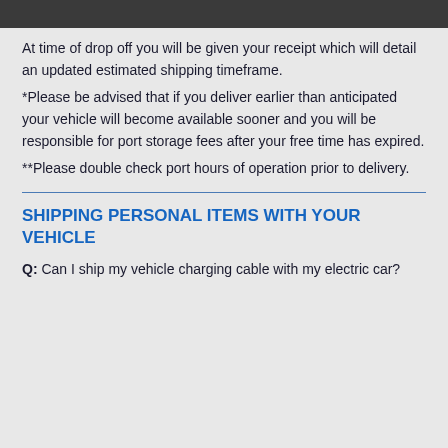At time of drop off you will be given your receipt which will detail an updated estimated shipping timeframe.
*Please be advised that if you deliver earlier than anticipated your vehicle will become available sooner and you will be responsible for port storage fees after your free time has expired.
**Please double check port hours of operation prior to delivery.
SHIPPING PERSONAL ITEMS WITH YOUR VEHICLE
Q: Can I ship my vehicle charging cable with my electric car?